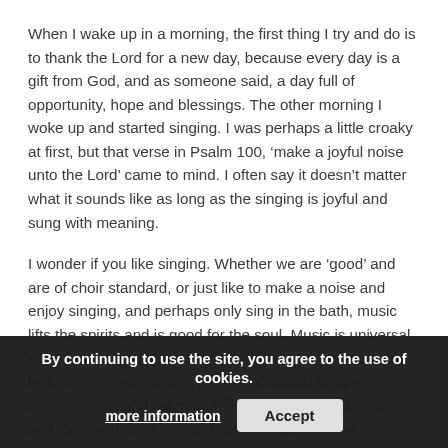When I wake up in a morning, the first thing I try and do is to thank the Lord for a new day, because every day is a gift from God, and as someone said, a day full of opportunity, hope and blessings. The other morning I woke up and started singing. I was perhaps a little croaky at first, but that verse in Psalm 100, ‘make a joyful noise unto the Lord’ came to mind. I often say it doesn’t matter what it sounds like as long as the singing is joyful and sung with meaning.
I wonder if you like singing. Whether we are ‘good’ and are of choir standard, or just like to make a noise and enjoy singing, and perhaps only sing in the bath, music lifts the spirits and is good for the soul. Music is universal, whatever language, whatever tongue, we can sense and feel if a piece of music is jubilant or docile, lively or solemn, quiet and calming, reflective and restful, gentle and melodious and so on. How good it is to hear someone whistling as they go about their work; a post person or refuse collector for example. It is a joy to know that someone is happy and enjoying their work.
By continuing to use the site, you agree to the use of cookies.
more information
Accept